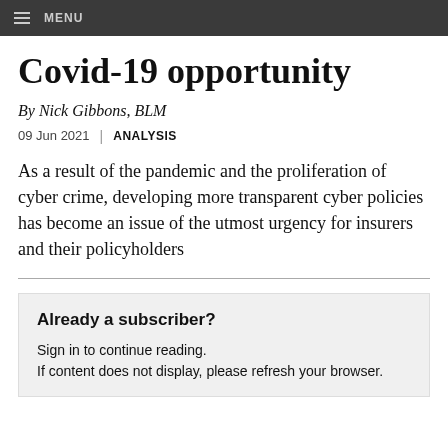MENU
Covid-19 opportunity
By Nick Gibbons, BLM
09 Jun 2021 | ANALYSIS
As a result of the pandemic and the proliferation of cyber crime, developing more transparent cyber policies has become an issue of the utmost urgency for insurers and their policyholders
Already a subscriber?
Sign in to continue reading.
If content does not display, please refresh your browser.